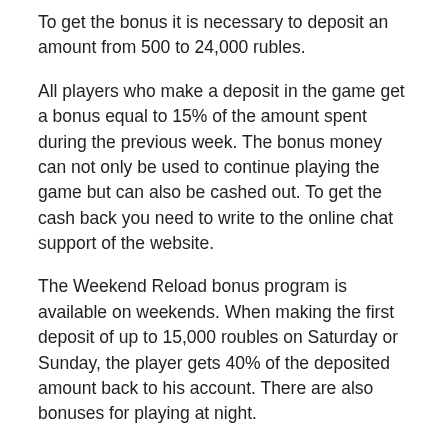To get the bonus it is necessary to deposit an amount from 500 to 24,000 rubles.
All players who make a deposit in the game get a bonus equal to 15% of the amount spent during the previous week. The bonus money can not only be used to continue playing the game but can also be cashed out. To get the cash back you need to write to the online chat support of the website.
The Weekend Reload bonus program is available on weekends. When making the first deposit of up to 15,000 roubles on Saturday or Sunday, the player gets 40% of the deposited amount back to his account. There are also bonuses for playing at night.